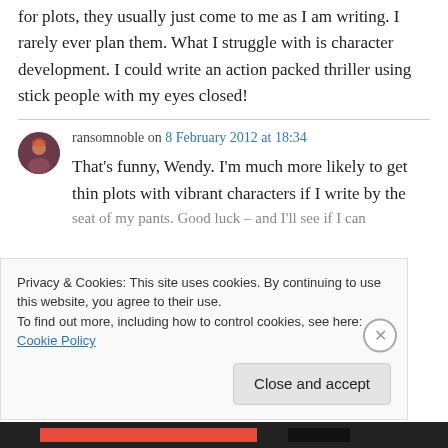for plots, they usually just come to me as I am writing. I rarely ever plan them. What I struggle with is character development. I could write an action packed thriller using stick people with my eyes closed!
ransomnoble on 8 February 2012 at 18:34
That's funny, Wendy. I'm much more likely to get thin plots with vibrant characters if I write by the seat of my pants. Good luck – and I'll see if I can
Privacy & Cookies: This site uses cookies. By continuing to use this website, you agree to their use.
To find out more, including how to control cookies, see here: Cookie Policy
Close and accept